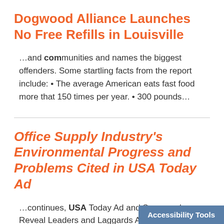Dogwood Alliance Launches No Free Refills in Louisville
…and communities and names the biggest offenders. Some startling facts from the report include: • The average American eats fast food more that 150 times per year. • 300 pounds…
Office Supply Industry's Environmental Progress and Problems Cited in USA Today Ad
…continues, USA Today Ad and Scorecard Reveal Leaders and Laggards Asheville, NC –